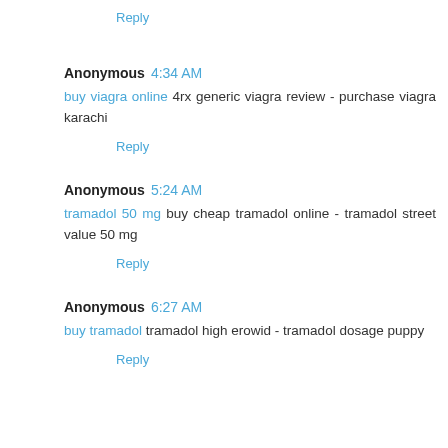Reply
Anonymous 4:34 AM
buy viagra online 4rx generic viagra review - purchase viagra karachi
Reply
Anonymous 5:24 AM
tramadol 50 mg buy cheap tramadol online - tramadol street value 50 mg
Reply
Anonymous 6:27 AM
buy tramadol tramadol high erowid - tramadol dosage puppy
Reply